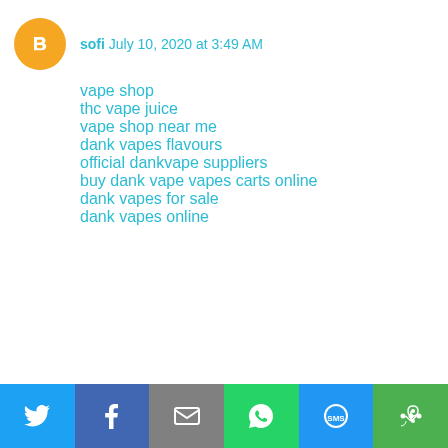sofi  July 10, 2020 at 3:49 AM
vape shop
thc vape juice
vape shop near me
dank vapes flavours
official dankvape suppliers
buy dank vape vapes carts online
dank vapes for sale
dank vapes online
Twitter | Facebook | Email | WhatsApp | SMS | More